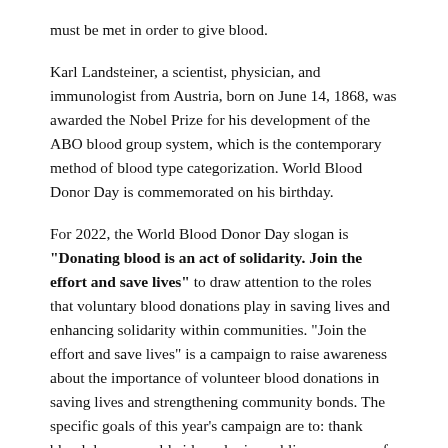must be met in order to give blood.
Karl Landsteiner, a scientist, physician, and immunologist from Austria, born on June 14, 1868, was awarded the Nobel Prize for his development of the ABO blood group system, which is the contemporary method of blood type categorization. World Blood Donor Day is commemorated on his birthday.
For 2022, the World Blood Donor Day slogan is "Donating blood is an act of solidarity. Join the effort and save lives" to draw attention to the roles that voluntary blood donations play in saving lives and enhancing solidarity within communities. "Join the effort and save lives" is a campaign to raise awareness about the importance of volunteer blood donations in saving lives and strengthening community bonds. The specific goals of this year's campaign are to: thank blood donors worldwide and raise public awareness of the need of regular, unpaid blood donation; emphasize the importance during the year blood donation in order to maintain enough supplies and ensure universal and prompt access to safe